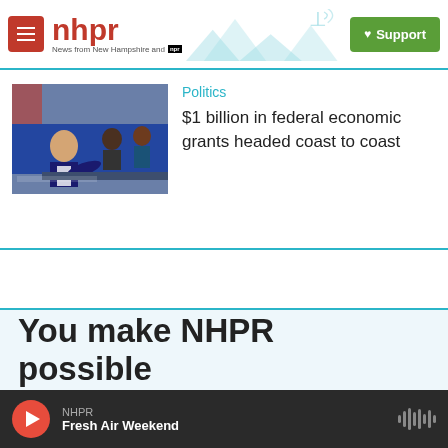nhpr — News from New Hampshire and NPR — Support
[Figure (photo): Photo of a person speaking at a table with others seated behind, in a room with a blue banner]
Politics
$1 billion in federal economic grants headed coast to coast
You make NHPR possible
NHPR — Fresh Air Weekend